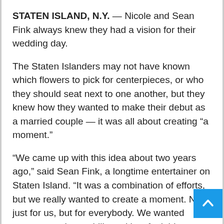STATEN ISLAND, N.Y. — Nicole and Sean Fink always knew they had a vision for their wedding day.
The Staten Islanders may not have known which flowers to pick for centerpieces, or who they should seat next to one another, but they knew how they wanted to make their debut as a married couple — it was all about creating “a moment.”
“We came up with this idea about two years ago,” said Sean Fink, a longtime entertainer on Staten Island. “It was a combination of efforts, but we really wanted to create a moment. Not just for us, but for everybody. We wanted everyone to have chills and just feel this moment full of music and visual connection.”